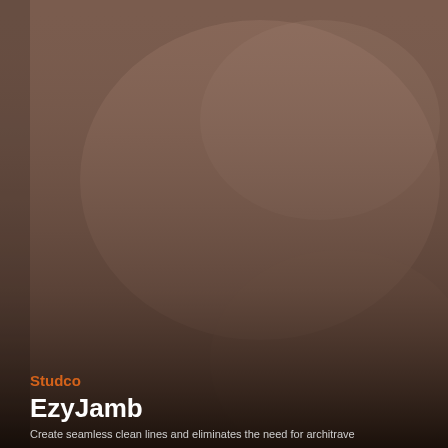[Figure (photo): Full-page product photo showing a brown/taupe wall surface with architectural door jamb detail, fading to dark at the bottom. The image shows a smooth rendered wall with clean lines, photographed in ambient lighting with a warm brownish tone.]
Studco
EzyJamb
Create seamless clean lines and eliminates the need for architrave...